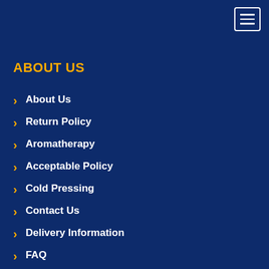ABOUT US
About Us
Return Policy
Aromatherapy
Acceptable Policy
Cold Pressing
Contact Us
Delivery Information
FAQ
Distillation of essential oil
CO2 Extraction
Solvent Extraction Method